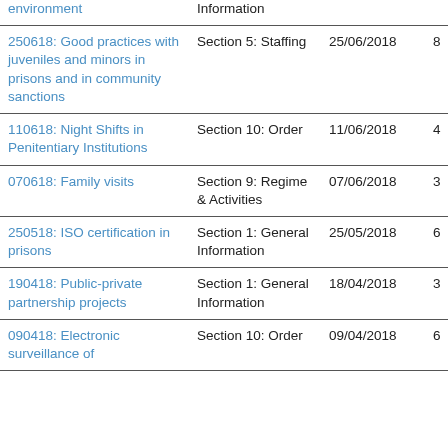| Title | Section | Date | Count |
| --- | --- | --- | --- |
| environment | Information |  |  |
| 250618: Good practices with juveniles and minors in prisons and in community sanctions | Section 5: Staffing | 25/06/2018 | 8 |
| 110618: Night Shifts in Penitentiary Institutions | Section 10: Order | 11/06/2018 | 4 |
| 070618: Family visits | Section 9: Regime & Activities | 07/06/2018 | 3 |
| 250518: ISO certification in prisons | Section 1: General Information | 25/05/2018 | 6 |
| 190418: Public-private partnership projects | Section 1: General Information | 18/04/2018 | 3 |
| 090418: Electronic surveillance of | Section 10: Order | 09/04/2018 | 6 |